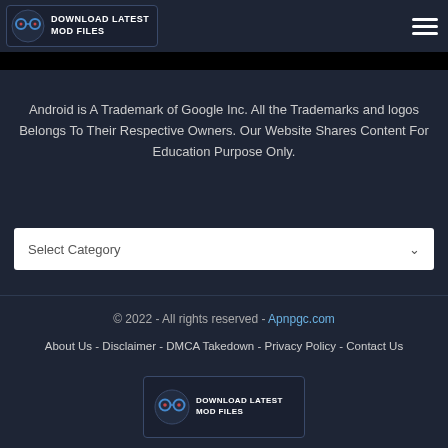DOWNLOAD LATEST MOD FILES
Android is A Trademark of Google Inc. All the Trademarks and logos Belongs To Their Respective Owners. Our Website Shares Content For Education Purpose Only.
Select Category
© 2022 - All rights reserved - Apnpgc.com
About Us - Disclaimer - DMCA Takedown - Privacy Policy - Contact Us
[Figure (logo): Download Latest Mod Files logo at bottom footer]